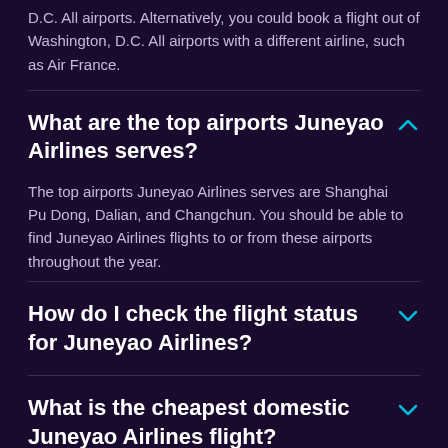D.C. All airports. Alternatively, you could book a flight out of Washington, D.C. All airports with a different airline, such as Air France.
What are the top airports Juneyao Airlines serves?
The top airports Juneyao Airlines serves are Shanghai Pu Dong, Dalian, and Changchun. You should be able to find Juneyao Airlines flights to or from these airports throughout the year.
How do I check the flight status for Juneyao Airlines?
What is the cheapest domestic Juneyao Airlines flight?
What is the cheapest international Juneyao Airlines flight?